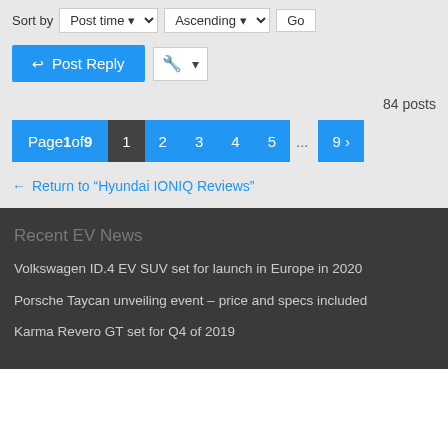Sort by  Post time ▾  Ascending ▾  Go
Post Reply
84 posts
Page 1 of 9  1  2  3  4  5  ...  9  ›
← Return to "Hyundai IONIQ Reviews"
Recent EV News
Volkswagen ID.4 EV SUV set for launch in Europe in 2020
Porsche Taycan unveiling event – price and specs included
Karma Revero GT set for Q4 of 2019